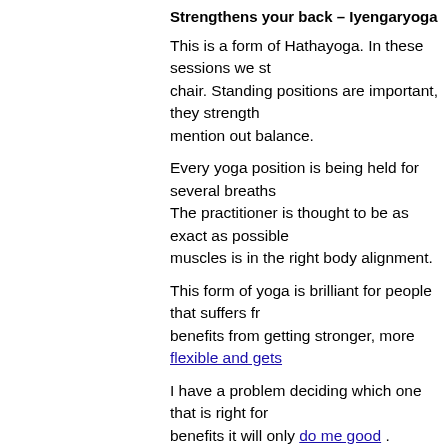Strengthens your back – Iyengaryoga
This is a form of Hathayoga. In these sessions we str... chair. Standing positions are important, they strength... mention out balance.
Every yoga position is being held for several breaths... The practitioner is thought to be as exact as possible... muscles is in the right body alignment.
This form of yoga is brilliant for people that suffers fro... benefits from getting stronger, more flexible and gets...
I have a problem deciding which one that is right for m... benefits it will only do me good .
Article Source: http://www.streetarticles.com/exercis...
[Figure (infographic): Green 'Like This Article?' button with click here to Like text and count 0]